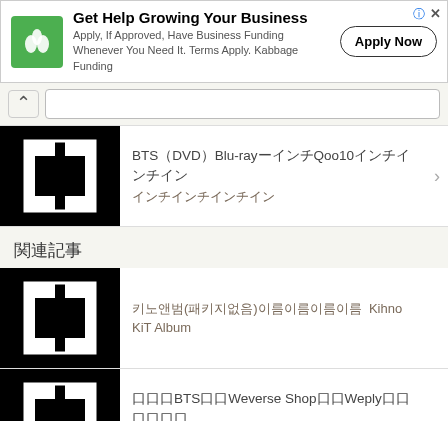[Figure (screenshot): Advertisement banner for Kabbage Funding with green logo, headline 'Get Help Growing Your Business', subtext, and Apply Now button]
BTS DVD Blu-ray Qoo10
関連記事
키노앨범(패키지없음) Kihno KiT Album
BTS Weverse Shop Weply 口口/口口口口